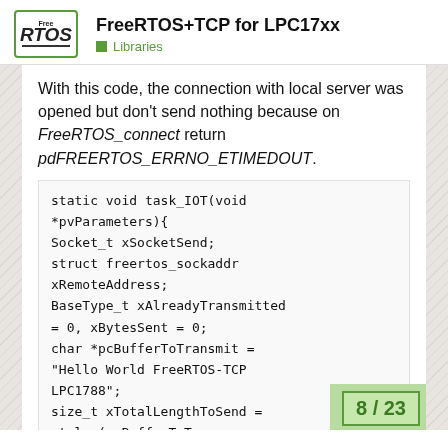FreeRTOS+TCP for LPC17xx
Libraries
With this code, the connection with local server was opened but don't send nothing because on FreeRTOS_connect return pdFREERTOS_ERRNO_ETIMEDOUT.
[Figure (screenshot): Code block showing static void task_IOT function definition with socket variables]
8 / 23